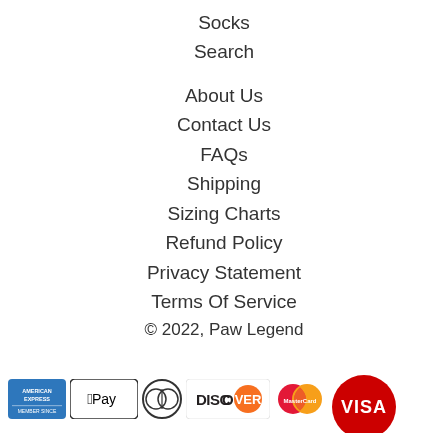Socks
Search
About Us
Contact Us
FAQs
Shipping
Sizing Charts
Refund Policy
Privacy Statement
Terms Of Service
© 2022, Paw Legend
[Figure (logo): Payment method logos: American Express, Apple Pay, Diners Club, Discover, MasterCard, Visa]